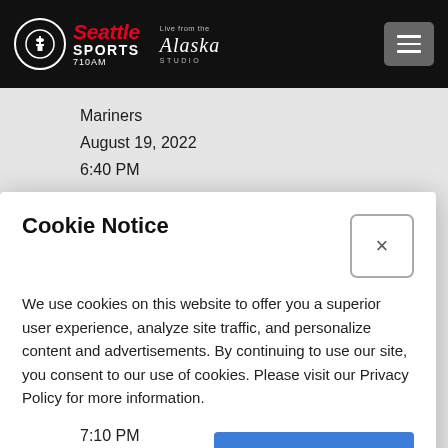Seattle Sports 710AM — Live from the Alaska Studio
Mariners
August 19, 2022
6:40 PM
Athletics
Cookie Notice
We use cookies on this website to offer you a superior user experience, analyze site traffic, and personalize content and advertisements. By continuing to use our site, you consent to our use of cookies. Please visit our Privacy Policy for more information.
Continue
7:10 PM